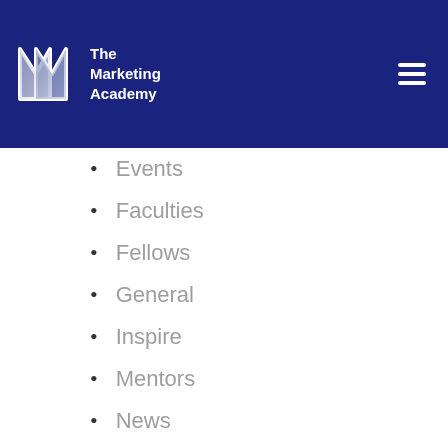The Marketing Academy
Events
Faculties
Fellows
General
Inspire
Mentors
News
Recommended Reading
Scholars
Uncategorized